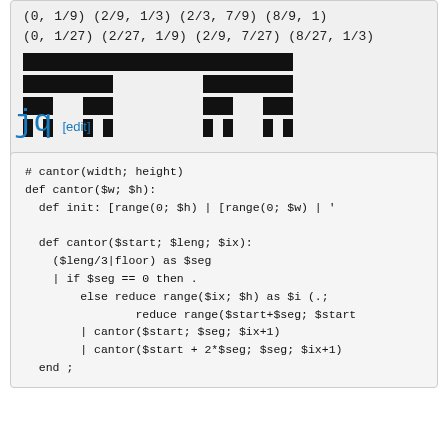(0, 1/9) (2/9, 1/3) (2/3, 7/9) (8/9, 1)
(0, 1/27) (2/27, 1/9) (2/9, 7/27) (8/27, 1/3)
[Figure (illustration): Cantor set fractal visualization showing rows of black rectangles representing successive iterations of the Cantor set construction]
jq [edit]
# cantor(width; height)
def cantor($w; $h):
  def init: [range(0; $h) | [range(0; $w) | '

  def cantor($start; $leng; $ix):
    ($leng/3|floor) as $seg
    | if $seg == 0 then .
        else reduce range($ix; $h) as $i (.;
                reduce range($start+$seg; $start
        | cantor($start; $seg; $ix+1)
        | cantor($start + 2*$seg; $seg; $ix+1)
  end ;